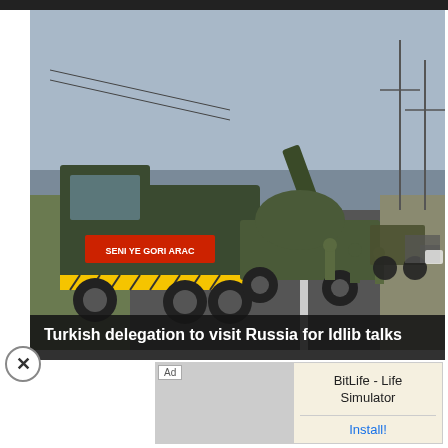[Figure (photo): A convoy of Turkish military vehicles including a large truck carrying a self-propelled howitzer/artillery piece, along with soldiers walking on a highway. Other armored vehicles are visible further down the road. The lead truck has a red banner with white text reading 'SENI YE GORI ARAC'. The scene appears to be in a rural area with power lines and dry fields visible.]
Turkish delegation to visit Russia for Idlib talks
Ad
BitLife - Life Simulator
Install!